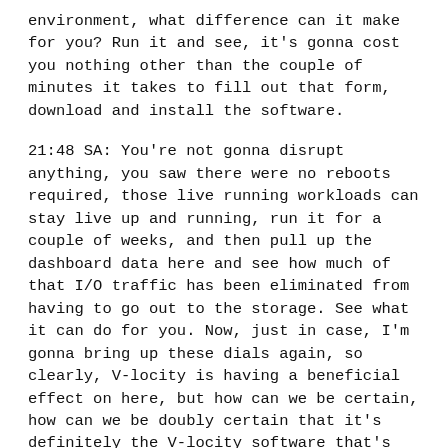environment, what difference can it make for you? Run it and see, it's gonna cost you nothing other than the couple of minutes it takes to fill out that form, download and install the software.
21:48 SA: You're not gonna disrupt anything, you saw there were no reboots required, those live running workloads can stay live up and running, run it for a couple of weeks, and then pull up the dashboard data here and see how much of that I/O traffic has been eliminated from having to go out to the storage. See what it can do for you. Now, just in case, I'm gonna bring up these dials again, so clearly, V-locity is having a beneficial effect on here, but how can we be certain, how can we be doubly certain that it's definitely the V-locity software that's causing this increase in workload to be